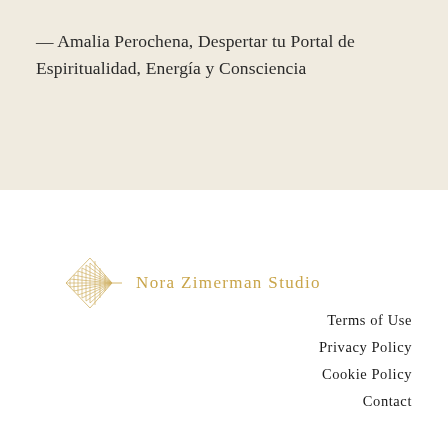— Amalia Perochena, Despertar tu Portal de Espiritualidad, Energía y Consciencia
[Figure (logo): Nora Zimerman Studio logo: a geometric arrow/diamond shape made of fine lines in golden color, followed by the text 'Nora Zimerman Studio' in gold serif letters]
Terms of Use
Privacy Policy
Cookie Policy
Contact